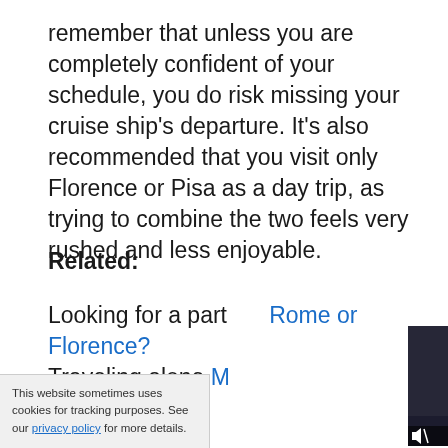remember that unless you are completely confident of your schedule, you do risk missing your cruise ship's departure. It's also recommended that you visit only Florence or Pisa as a day trip, as trying to combine the two feels very rushed and less enjoyable.
Related:
Looking for a party in Rome or Florence?
Traveling alone M...
[Figure (screenshot): Video player overlay showing 'THIS DAY IN HISTORY' with number 5 and AUGUST, NFL background imagery, play button, mute icon, blue progress dot, and fullscreen button]
This website sometimes uses cookies for tracking purposes. See our privacy policy for more details.